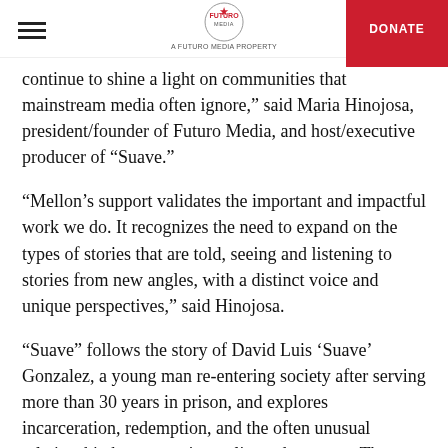A FUTURO MEDIA PROPERTY | DONATE
continue to shine a light on communities that mainstream media often ignore,” said Maria Hinojosa, president/founder of Futuro Media, and host/executive producer of “Suave.”
“Mellon’s support validates the important and impactful work we do. It recognizes the need to expand on the types of stories that are told, seeing and listening to stories from new angles, with a distinct voice and unique perspectives,” said Hinojosa.
“Suave” follows the story of David Luis ‘Suave’ Gonzalez, a young man re-entering society after serving more than 30 years in prison, and explores incarceration, redemption, and the often unusual relationship between a journalist and a source. The second-season podcast sequel will spotlight the struggles and triumphs of